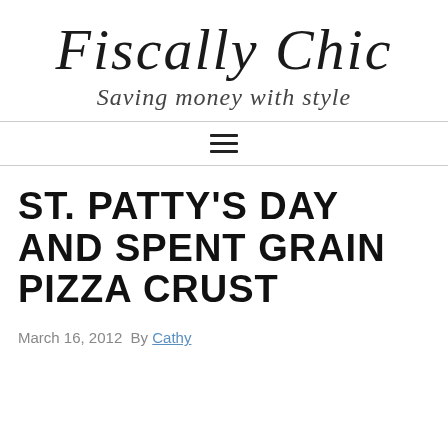Fiscally Chic
Saving money with style
[Figure (other): Hamburger menu icon with three horizontal lines]
ST. PATTY'S DAY AND SPENT GRAIN PIZZA CRUST
March 16, 2012 By Cathy